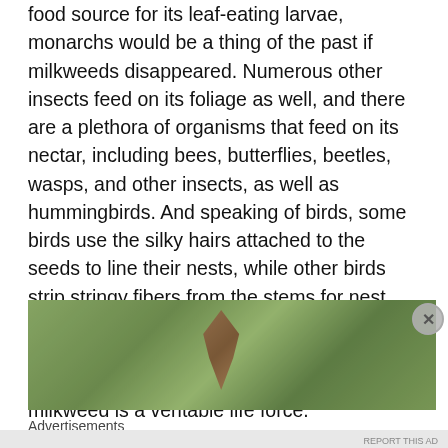food source for its leaf-eating larvae, monarchs would be a thing of the past if milkweeds disappeared. Numerous other insects feed on its foliage as well, and there are a plethora of organisms that feed on its nectar, including bees, butterflies, beetles, wasps, and other insects, as well as hummingbirds. And speaking of birds, some birds use the silky hairs attached to the seeds to line their nests, while other birds strip stringy fibers from the stems for nest building. And while it is not a major food source for mammals, deer and other animals have been known to sample it. Indeed, milkweed is a veritable life force.
[Figure (photo): Close-up photograph of milkweed plant with green leaves and a brown insect or seed pod visible]
Advertisements